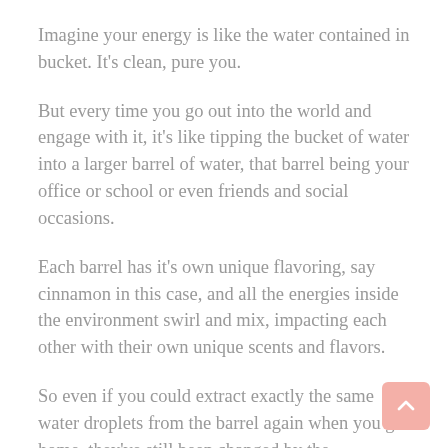Imagine your energy is like the water contained in bucket. It's clean, pure you.
But every time you go out into the world and engage with it, it's like tipping the bucket of water into a larger barrel of water, that barrel being your office or school or even friends and social occasions.
Each barrel has it's own unique flavoring, say cinnamon in this case, and all the energies inside the environment swirl and mix, impacting each other with their own unique scents and flavors.
So even if you could extract exactly the same water droplets from the barrel again when you go home, they've still been changed by the flavoring...